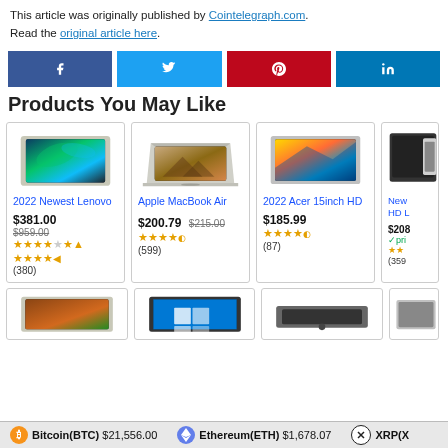This article was originally published by Cointelegraph.com. Read the original article here.
[Figure (other): Social share buttons: Facebook (dark blue), Twitter (light blue), Pinterest (red), LinkedIn (dark blue)]
Products You May Like
[Figure (other): Product card: 2022 Newest Lenovo laptop image, price $381.00 (was $959.00), 4.5 stars, (380) reviews]
[Figure (other): Product card: Apple MacBook Air laptop image, price $200.79 (was $215.00), 4.5 stars, (599) reviews]
[Figure (other): Product card: 2022 Acer 15inch HD laptop image, price $185.99, 4.5 stars, (87) reviews]
[Figure (other): Partial product card: New HD laptop, price $208+, Prime, stars, (359+) reviews]
[Figure (other): Second row of product cards: three laptops and one partial, images only visible]
Bitcoin(BTC) $21,556.00   Ethereum(ETH) $1,678.07   XRP(X...